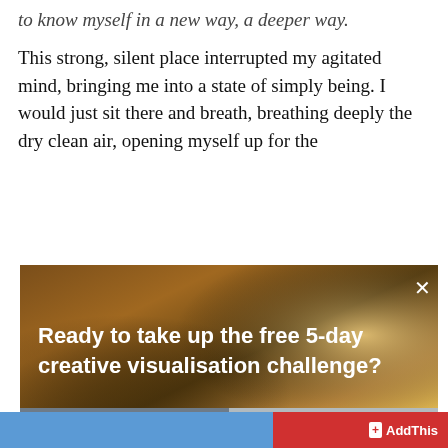to know myself in a new way, a deeper way.
This strong, silent place interrupted my agitated mind, bringing me into a state of simply being. I would just sit there and breath, breathing deeply the dry clean air, opening myself up for the
[Figure (screenshot): Popup overlay on a webpage showing a woman carrying shopping bags in warm bokeh light background. Contains text 'Ready to take up the free 5-day creative visualisation challenge?' with two buttons: 'Yes please!' (dark grey) and 'No, thanks!' (light grey). An X close button is in the top right.]
AddThis